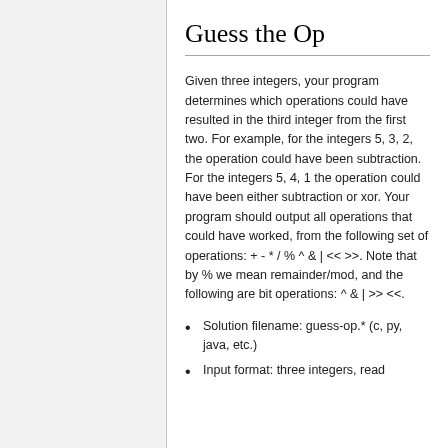Guess the Op
Given three integers, your program determines which operations could have resulted in the third integer from the first two. For example, for the integers 5, 3, 2, the operation could have been subtraction. For the integers 5, 4, 1 the operation could have been either subtraction or xor. Your program should output all operations that could have worked, from the following set of operations: + - * / % ^ & | << >>. Note that by % we mean remainder/mod, and the following are bit operations: ^ & | >> <<.
Solution filename: guess-op.* (c, py, java, etc.)
Input format: three integers, read